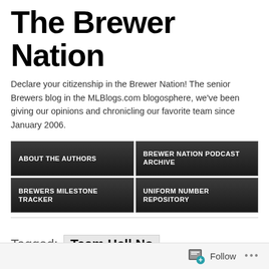The Brewer Nation
Declare your citizenship in the Brewer Nation! The senior Brewers blog in the MLBlogs.com blogosphere, we've been giving our opinions and chronicling our favorite team since January 2006.
ABOUT THE AUTHORS
BREWER NATION PODCAST ARCHIVE
BREWERS MILESTONE TRACKER
UNIFORM NUMBER REPOSITORY
Tagged: Team Hell No
JANUARY 9, 2013
Team “Hall” No
[Figure (photo): Partial image strip in teal/cyan color at bottom of post]
Follow